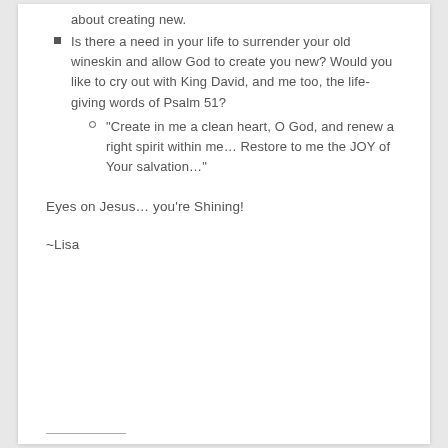about creating new.
Is there a need in your life to surrender your old wineskin and allow God to create you new?  Would you like to cry out with King David, and me too, the life-giving words of Psalm 51?
“Create in me a clean heart, O God, and renew a right spirit within me…  Restore to me the JOY of Your salvation…”
Eyes on Jesus… you’re Shining!
~Lisa